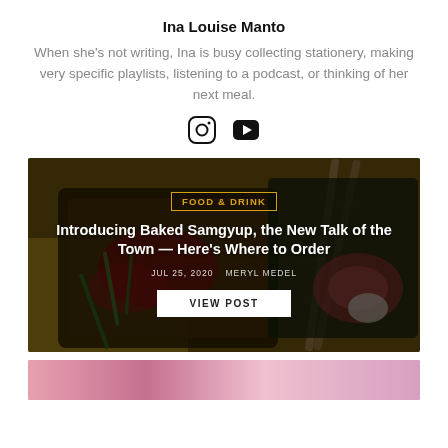Ina Louise Manto
When she's not writing, Ina is busy collecting stationery, making very specific playlists, listening to a podcast, or thinking of her next meal.
[Figure (illustration): Social media icons: Instagram and YouTube]
[Figure (photo): Food photo with baked samgyup dishes in foil trays with chopsticks, overlaid with article title, category badge, date, author, and a VIEW POST button]
FOOD & DRINK
Introducing Baked Samgyup, the New Talk of the Town — Here's Where to Order
JUL 25, 2020  MERYL MEDEL
[Figure (photo): Partial view of a second article card with pink/purple gradient background]